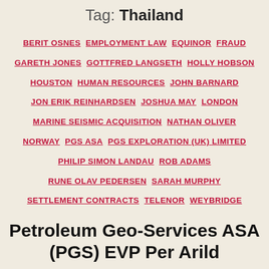Tag: Thailand
BERIT OSNES  EMPLOYMENT LAW  EQUINOR  FRAUD  GARETH JONES  GOTTFRED LANGSETH  HOLLY HOBSON  HOUSTON  HUMAN RESOURCES  JOHN BARNARD  JON ERIK REINHARDSEN  JOSHUA MAY  LONDON  MARINE SEISMIC ACQUISITION  NATHAN OLIVER  NORWAY  PGS ASA  PGS EXPLORATION (UK) LIMITED  PHILIP SIMON LANDAU  ROB ADAMS  RUNE OLAV PEDERSEN  SARAH MURPHY  SETTLEMENT CONTRACTS  TELENOR  WEYBRIDGE
Petroleum Geo-Services ASA (PGS) EVP Per Arild Pedersen Ousted in...